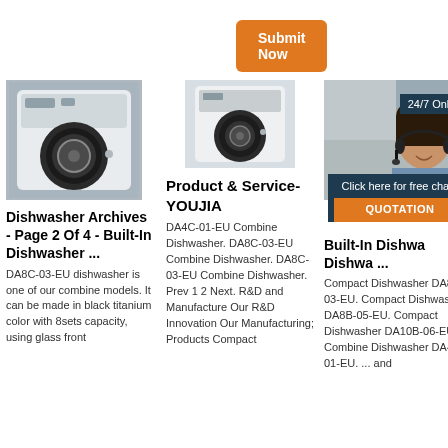[Figure (illustration): Orange 'Submit Now' button]
[Figure (photo): Large front-loading washing machine on metallic background]
Dishwasher Archives - Page 2 Of 4 - Built-In Dishwasher ...
DA8C-03-EU dishwasher is one of our combine models. It can be made in black titanium color with 8sets capacity, using glass front
[Figure (photo): Small front-loading washing machine, white background]
Product & Service- YOUJIA
DA4C-01-EU Combine Dishwasher. DA8C-03-EU Combine Dishwasher. DA8C-03-EU Combine Dishwasher. Prev 1 2 Next. R&D and Manufacture Our R&D Innovation Our Manufacturing; Products Compact
[Figure (photo): Customer service representative with headset, 24/7 Online badge, and chat overlay with QUOTATION button]
Built-In Dishwa Dishwa ...
Compact Dishwasher DA8B-03-EU. Compact Dishwasher DA8B-05-EU. Compact Dishwasher DA10B-06-EU Combine Dishwasher DA4C-01-EU. ... and